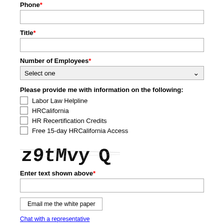Phone*
Title*
Number of Employees*
Please provide me with information on the following:
Labor Law Helpline
HRCalifornia
HR Recertification Credits
Free 15-day HRCalifornia Access
[Figure (other): CAPTCHA image showing distorted text: z9tMvyQ]
Enter text shown above*
Email me the white paper
Chat with a representative
Privacy Policy